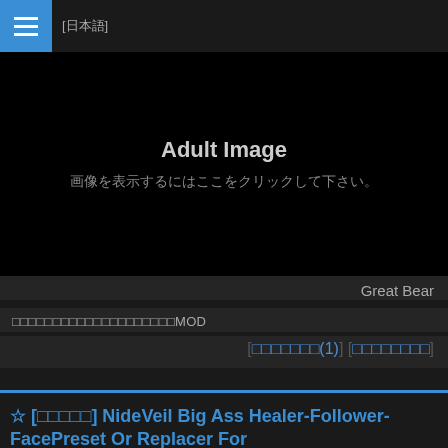[日本語] ☰
[Figure (other): Adult Image placeholder block — black background with text 'Adult Image' and Japanese subtitle '画像を表示するにはここをクリックして下さい。']
Great Bear
日本語日本語日本語日本語日本語日本語日本語日本語MOD
[日本語リンク(1)] [日本語リンク]
☆ [日本語] NideVeil Big Ass Healer-Follower-FacePreset Or Replacer For